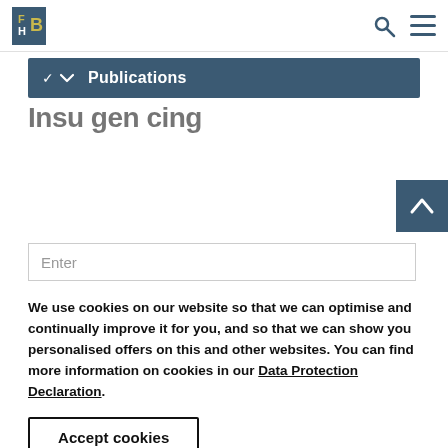FHB logo with navigation icons (search, menu)
Publications
We use cookies on our website so that we can optimise and continually improve it for you, and so that we can show you personalised offers on this and other websites. You can find more information on cookies in our Data Protection Declaration.
Accept cookies